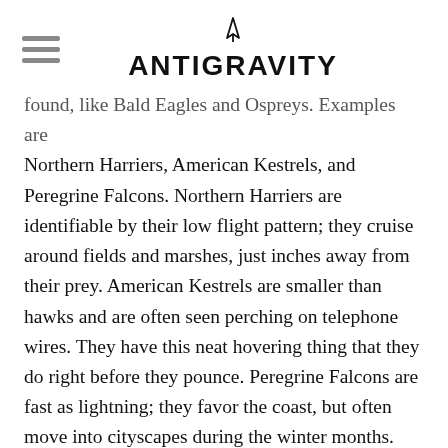ANTIGRAVITY
found, like Bald Eagles and Ospreys. Examples are Northern Harriers, American Kestrels, and Peregrine Falcons. Northern Harriers are identifiable by their low flight pattern; they cruise around fields and marshes, just inches away from their prey. American Kestrels are smaller than hawks and are often seen perching on telephone wires. They have this neat hovering thing that they do right before they pounce. Peregrine Falcons are fast as lightning; they favor the coast, but often move into cityscapes during the winter months. The best places to watch